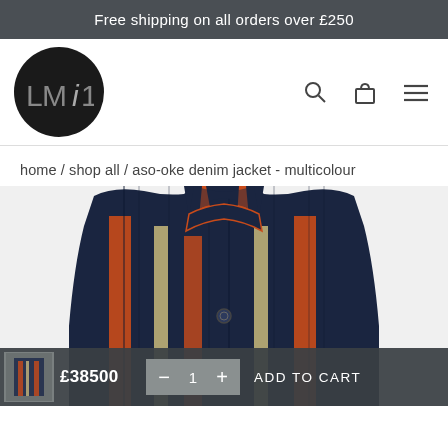Free shipping on all orders over £250
[Figure (logo): LMi1 brand logo — circular black badge with stylized LMi1 text in grey]
home / shop all / aso-oke denim jacket - multicolour
[Figure (photo): Aso-oke denim jacket in multicolour — dark navy base with vertical orange, cream, and tan stripe pattern; stand-up collar with orange and navy trim; single button visible at chest; product shown from upper torso area cropped at top]
£38500
1
ADD TO CART